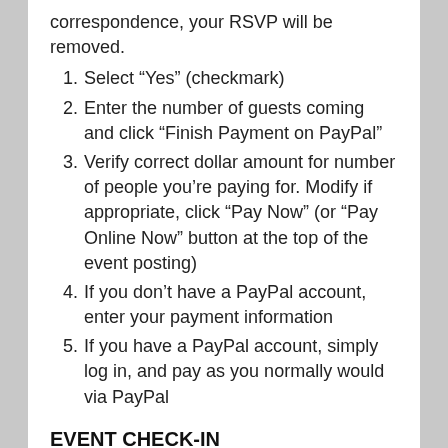correspondence, your RSVP will be removed.
Select “Yes” (checkmark)
Enter the number of guests coming and click “Finish Payment on PayPal”
Verify correct dollar amount for number of people you’re paying for. Modify if appropriate, click “Pay Now” (or “Pay Online Now” button at the top of the event posting)
If you don’t have a PayPal account, enter your payment information
If you have a PayPal account, simply log in, and pay as you normally would via PayPal
EVENT CHECK-IN